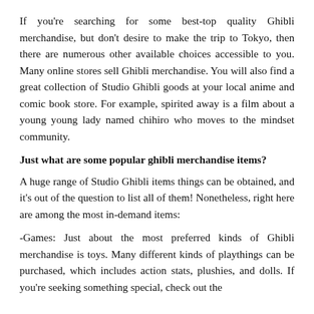If you're searching for some best-top quality Ghibli merchandise, but don't desire to make the trip to Tokyo, then there are numerous other available choices accessible to you. Many online stores sell Ghibli merchandise. You will also find a great collection of Studio Ghibli goods at your local anime and comic book store. For example, spirited away is a film about a young young lady named chihiro who moves to the mindset community.
Just what are some popular ghibli merchandise items?
A huge range of Studio Ghibli items things can be obtained, and it's out of the question to list all of them! Nonetheless, right here are among the most in-demand items:
-Games: Just about the most preferred kinds of Ghibli merchandise is toys. Many different kinds of playthings can be purchased, which includes action stats, plushies, and dolls. If you're seeking something special, check out the